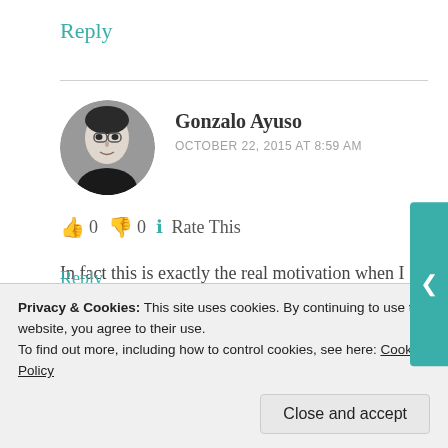Reply
[Figure (photo): Circular avatar photo of Gonzalo Ayuso, a man in black and white photo]
Gonzalo Ayuso
OCTOBER 22, 2015 AT 8:59 AM
👍 0 👎 0 ℹ Rate This
In fact this is exactly the real motivation when I wrote this post 🙂
Reply
Privacy & Cookies: This site uses cookies. By continuing to use this website, you agree to their use.
To find out more, including how to control cookies, see here: Cookie Policy
Close and accept